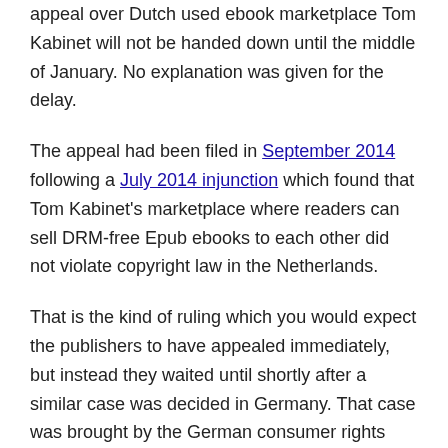appeal over Dutch used ebook marketplace Tom Kabinet will not be handed down until the middle of January. No explanation was given for the delay.
The appeal had been filed in September 2014 following a July 2014 injunction which found that Tom Kabinet's marketplace where readers can sell DRM-free Epub ebooks to each other did not violate copyright law in the Netherlands.
That is the kind of ruling which you would expect the publishers to have appealed immediately, but instead they waited until shortly after a similar case was decided in Germany. That case was brought by the German consumer rights group VZBV, and was decided the other way.
As a result of that German ruling, the resale of ebook licenses is legal in the Netherlands but illegal in Germany. That contradiction works to the publishers' advantage because